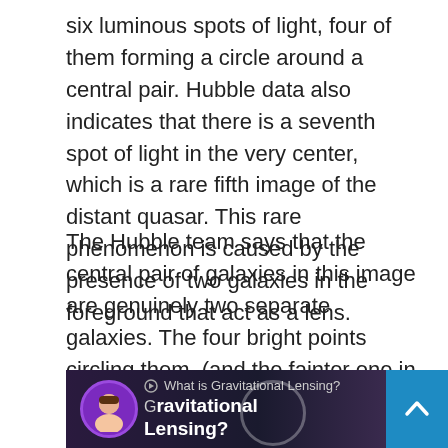six luminous spots of light, four of them forming a circle around a central pair. Hubble data also indicates that there is a seventh spot of light in the very center, which is a rare fifth image of the distant quasar. This rare phenomenon is caused by the presence of two galaxies in the foreground that act as a lens.
The Hubble team says that the central pair of galaxies in this image are genuinely two separate galaxies. The four bright points circling them, (and the fainter one in the very center, which is really hard to see) are actually five separate images of the single distant quasar, called 2M1310-1714.
[Figure (screenshot): A video thumbnail showing a YouTube-style video titled 'What is Gravitational Lensing?' with a cartoon avatar in a purple circle on the left, text 'What is Gravitational Lensing?' in white on a dark space background, large bold white text 'Gravitational Lensing?' partially visible, a blue scroll-to-top button on the right, and a partial play/circle icon.]